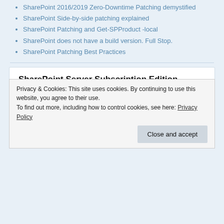SharePoint 2016/2019 Zero-Downtime Patching demystified
SharePoint Side-by-side patching explained
SharePoint Patching and Get-SPProduct -local
SharePoint does not have a build version. Full Stop.
SharePoint Patching Best Practices
SharePoint Server Subscription Edition
New and improved features in SharePoint Server Subscription Edition
SharePoint Server Subscription Edition Public Preview
Language Packs for SharePoint Server Subscription Edition Public Preview
Privacy & Cookies: This site uses cookies. By continuing to use this website, you agree to their use.
To find out more, including how to control cookies, see here: Privacy Policy
Close and accept